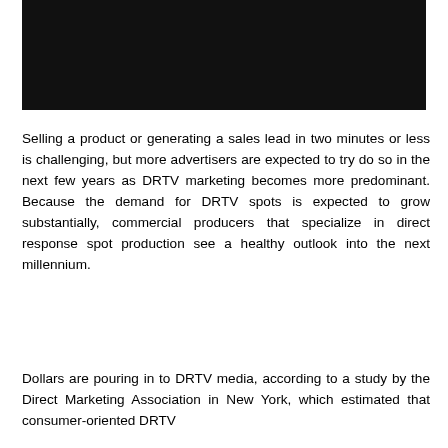[Figure (photo): Dark/black rectangular image area at top of page]
Selling a product or generating a sales lead in two minutes or less is challenging, but more advertisers are expected to try do so in the next few years as DRTV marketing becomes more predominant. Because the demand for DRTV spots is expected to grow substantially, commercial producers that specialize in direct response spot production see a healthy outlook into the next millennium.
Dollars are pouring in to DRTV media, according to a study by the Direct Marketing Association in New York, which estimated that consumer-oriented DRTV